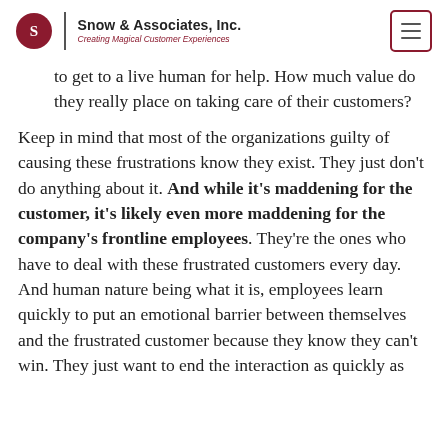Snow & Associates, Inc. — Creating Magical Customer Experiences
to get to a live human for help. How much value do they really place on taking care of their customers?
Keep in mind that most of the organizations guilty of causing these frustrations know they exist. They just don't do anything about it. And while it's maddening for the customer, it's likely even more maddening for the company's frontline employees. They're the ones who have to deal with these frustrated customers every day. And human nature being what it is, employees learn quickly to put an emotional barrier between themselves and the frustrated customer because they know they can't win. They just want to end the interaction as quickly as